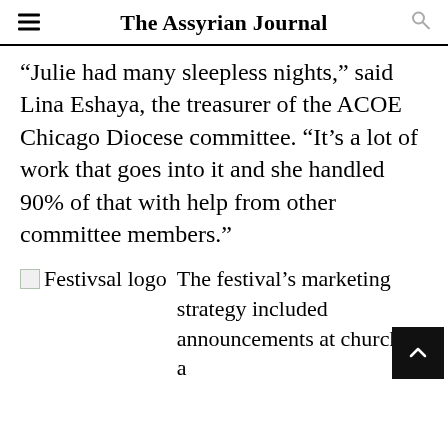The Assyrian Journal
“Julie had many sleepless nights,” said Lina Eshaya, the treasurer of the ACOE Chicago Diocese committee. “It’s a lot of work that goes into it and she handled 90% of that with help from other committee members.”
[Figure (logo): Broken image placeholder with alt text 'Festivsal logo']
The festival’s marketing strategy included announcements at churches, a